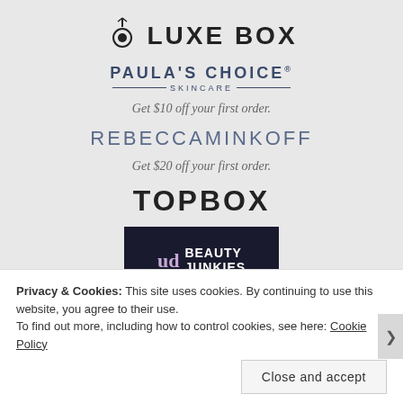[Figure (logo): Luxe Box logo with circular icon and bold uppercase text LUXE BOX]
[Figure (logo): Paula's Choice Skincare logo with decorative lines]
Get $10 off your first order.
[Figure (logo): Rebecca Minkoff logo in spaced uppercase letters]
Get $20 off your first order.
[Figure (logo): TOPBOX logo in bold uppercase letters]
[Figure (logo): UD Beauty Junkies logo on dark background with tagline ADDICTION HAS ITS PERKS]
Privacy & Cookies: This site uses cookies. By continuing to use this website, you agree to their use.
To find out more, including how to control cookies, see here: Cookie Policy
Close and accept